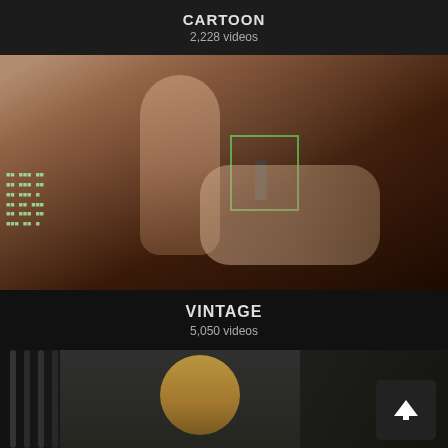CARTOON
2,228 videos
[Figure (photo): Vintage adult video thumbnail]
VINTAGE
5,050 videos
[Figure (photo): Adult video thumbnail with scroll-to-top button overlay]